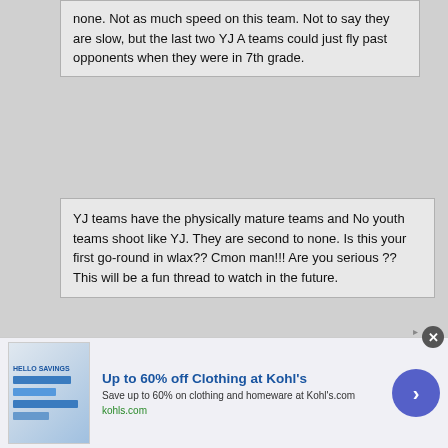none. Not as much speed on this team. Not to say they are slow, but the last two YJ A teams could just fly past opponents when they were in 7th grade.
YJ teams have the physically mature teams and No youth teams shoot like YJ. They are second to none. Is this your first go-round in wlax?? Cmon man!!! Are you serious ?? This will be a fun thread to watch in the future.
ok YJ Dad! thanks for letting us all know they are "second to none" multiple times....outside YJA I'm not really sure what the heck you are talking about
[Figure (screenshot): Advertisement banner for Kohl's: 'Up to 60% off Clothing at Kohl's'. Save up to 60% on clothing and homeware at Kohl's.com. kohls.com]